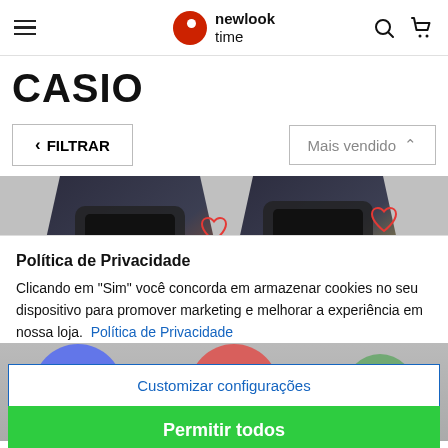newlook time
CASIO
< FILTRAR
Mais vendido
[Figure (screenshot): Partial product images of two Casio watches with heart/wishlist icons on a grey background]
Política de Privacidade
Clicando em "Sim" você concorda em armazenar cookies no seu dispositivo para promover marketing e melhorar a experiência em nossa loja.  Política de Privacidade
Customizar configurações
Permitir todos